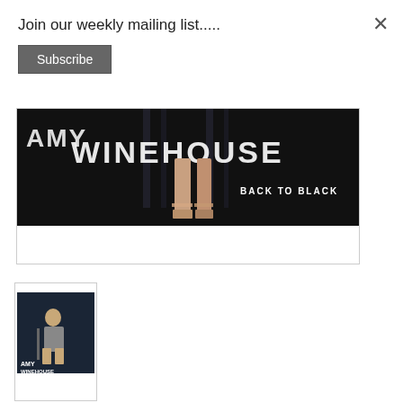Join our weekly mailing list.....
Subscribe
[Figure (photo): Amy Winehouse Back to Black album cover detail — large dark image showing legs in heels with 'WINEHOUSE BACK TO BLACK' text]
[Figure (photo): Small thumbnail of Amy Winehouse album cover showing artist seated with 'AMY WINEHOUSE' text]